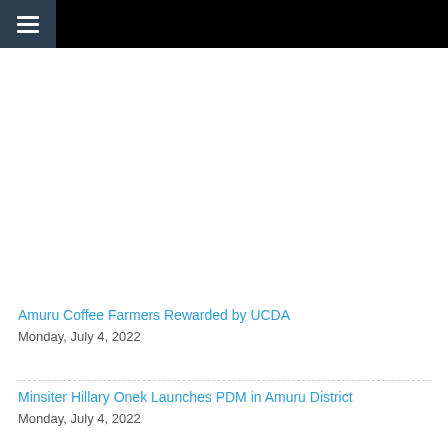≡
Amuru Coffee Farmers Rewarded by UCDA
Monday, July 4, 2022
Minsiter Hillary Onek Launches PDM in Amuru District
Monday, July 4, 2022